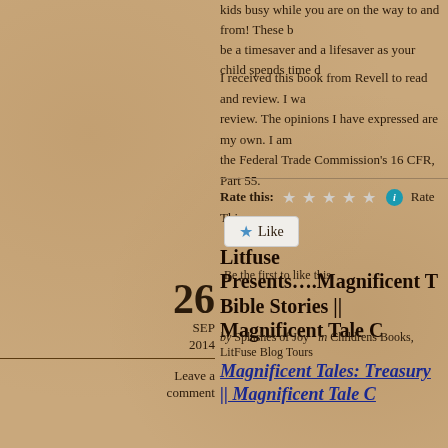kids busy while you are on the way to and from! These be a timesaver and a lifesaver as your child spends time d
I received this book from Revell to read and review. I was review. The opinions I have expressed are my own. I am the Federal Trade Commission's 16 CFR, Part 55.
Rate this: ★ ★ ★ ★ ★ ℹ Rate This
★ Like
Be the first to like this.
26
SEP
2014
Leave a comment
Litfuse Presents….Magnificent T Bible Stories || Magnificent Tale C
by Splashes of Joy   in Childrens Books, LitFuse Blog Tours
Magnificent Tales: Treasury || Magnificent Tale C